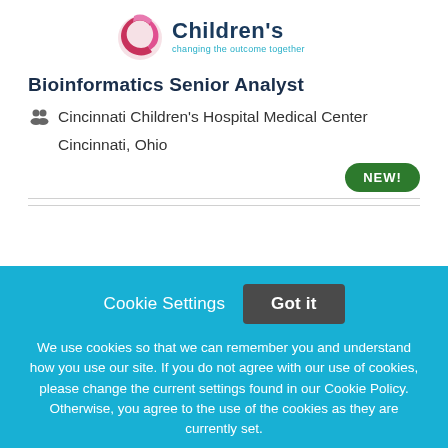[Figure (logo): Cincinnati Children's Hospital logo with pink/magenta C shape and teal text reading 'Children's changing the outcome together']
Bioinformatics Senior Analyst
Cincinnati Children's Hospital Medical Center
Cincinnati, Ohio
NEW!
Cookie Settings   Got it
We use cookies so that we can remember you and understand how you use our site. If you do not agree with our use of cookies, please change the current settings found in our Cookie Policy. Otherwise, you agree to the use of the cookies as they are currently set.